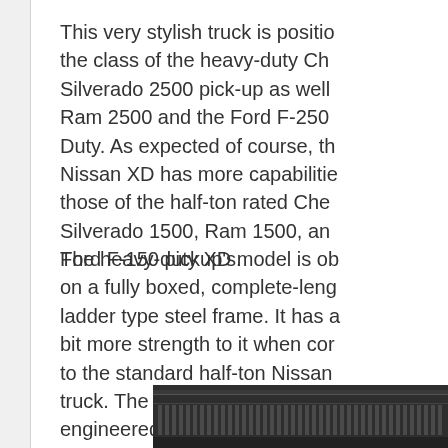This very stylish truck is positioned in the class of the heavy-duty Chevrolet Silverado 2500 pick-up as well as the Ram 2500 and the Ford F-250 Super Duty. As expected of course, the Nissan XD has more capabilities than those of the half-ton rated Chevrolet Silverado 1500, Ram 1500, and Ford F-150 pickup's.
The heavy-duty XD model is constructed on a fully boxed, complete-length ladder type steel frame. It has a bit more strength to it when compared to the standard half-ton Nissan truck. The beefier setup was engineered to help with higher capacities, the weight of the larger Cummins engine, and it helps in the vehicle's overall high-tow capa...
[Figure (photo): Partial view of a dark-colored heavy-duty truck, showing what appears to be the grille or front section of the vehicle against a dark background.]